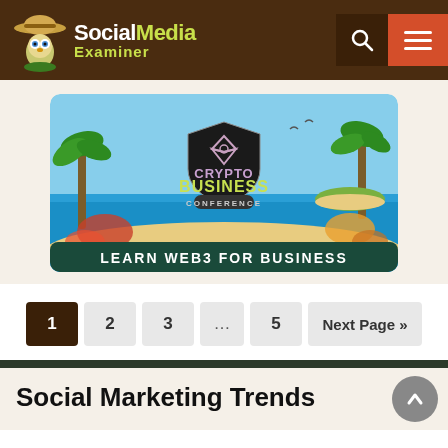Social Media Examiner
[Figure (illustration): Crypto Business Conference advertisement banner with tropical beach background. Text reads: CRYPTO BUSINESS CONFERENCE - LEARN WEB3 FOR BUSINESS]
1  2  3  ...  5  Next Page »
Social Marketing Trends